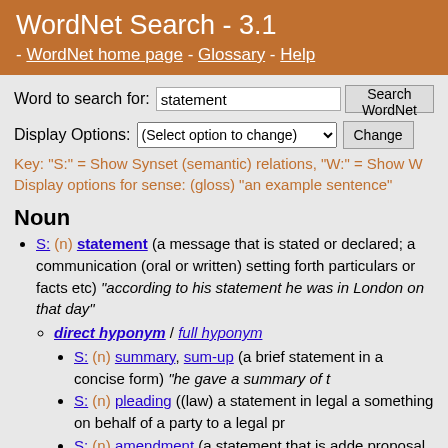WordNet Search - 3.1
- WordNet home page - Glossary - Help
Word to search for: statement  Search WordNet
Display Options: (Select option to change)  Change
Key: "S:" = Show Synset (semantic) relations, "W:" = Show W
Display options for sense: (gloss) "an example sentence"
Noun
S: (n) statement (a message that is stated or declared; a communication (oral or written) setting forth particulars or facts etc) "according to his statement he was in London on that day"
direct hyponym / full hyponym
S: (n) summary, sum-up (a brief statement that presents the main points in a concise form) "he gave a summary of the argument"
S: (n) pleading ((law) a statement in legal and especially a statement on behalf of a party to a legal pr
S: (n) amendment (a statement that is added to or revises or improves a proposal or document (a bill or constitution